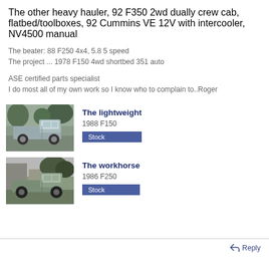The other heavy hauler, 92 F350 2wd dually crew cab, flatbed/toolboxes, 92 Cummins VE 12V with intercooler, NV4500 manual
The beater: 88 F250 4x4, 5.8 5 speed
The project ... 1978 F150 4wd shortbed 351 auto
ASE certified parts specialist
I do most all of my own work so I know who to complain to..Roger
[Figure (photo): Photo of a gray Ford F150 pickup truck parked outdoors near trees]
The lightweight
1988 F150
Stock
[Figure (photo): Photo of a gray-green Ford F250 pickup truck parked near a building with trees in background]
The workhorse
1986 F250
Stock
Reply